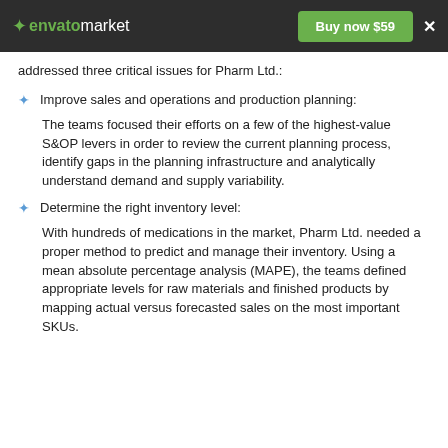envato market | Buy now $59 | ×
addressed three critical issues for Pharm Ltd.:
Improve sales and operations and production planning:
The teams focused their efforts on a few of the highest-value S&OP levers in order to review the current planning process, identify gaps in the planning infrastructure and analytically understand demand and supply variability.
Determine the right inventory level:
With hundreds of medications in the market, Pharm Ltd. needed a proper method to predict and manage their inventory. Using a mean absolute percentage analysis (MAPE), the teams defined appropriate levels for raw materials and finished products by mapping actual versus forecasted sales on the most important SKUs.